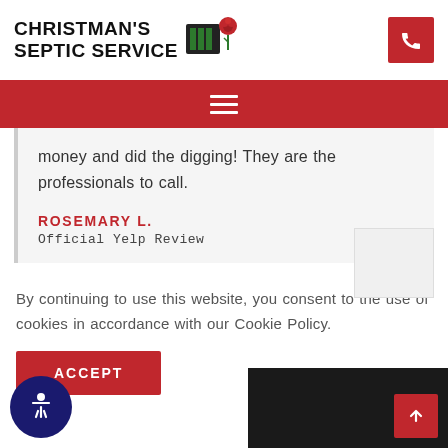CHRISTMAN'S SEPTIC SERVICE
money and did the digging! They are the professionals to call.
ROSEMARY L.
Official Yelp Review
By continuing to use this website, you consent to the use of cookies in accordance with our Cookie Policy.
ACCEPT